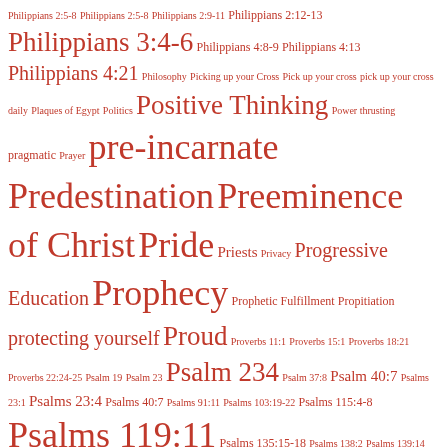Tag cloud containing biblical and theological terms including: Philippians 2:5-8, Philippians 2:5-8, Philippians 2:9-11, Philippians 2:12-13, Philippians 3:4-6, Philippians 4:8-9, Philippians 4:13, Philippians 4:21, Philosophy, Picking up your Cross, Pick up your cross, pick up your cross daily, Plaques of Egypt, Politics, Positive Thinking, Power thrusting, pragmatic, Prayer, pre-incarnate, Predestination, Preeminence of Christ, Pride, Priests, Privacy, Progressive Education, Prophecy, Prophetic Fulfillment, Propitiation, protecting yourself, Proud, Proverbs 11:1, Proverbs 15:1, Proverbs 18:21, Proverbs 22:24-25, Psalm 19, Psalm 23, Psalm 234, Psalm 37:8, Psalm 40:7, Psalms 23:1, Psalms 23:4, Psalms 40:7, Psalms 91:11, Psalms 103:19-22, Psalms 115:4-8, Psalms 119:11, Psalms 135:15-18, Psalms 138:2, Psalms 139:14, Psychology, Purpose, putting others first, rabbit trails, raised on the third day, rationalizations, Ray Comfort, Real faith, reasons for trials, Reciprocity, Redeemer, Refusing to Make a Choice, Regeneration, Repentance, Replacement Theology, reproductive rights, responsibility, Resurrection, Revelation 6:5-6, Revelation 13, Revelation 18:23, Revelation 19:7-8, Revelation 21:2, Revelation 21:9-10, Revenger in blood, Revenger of Blood, Rewards, rewards in heaven, Rewards to Believers, Rhetorical Devices, Ritualistic Worship is Practiced, Rob...